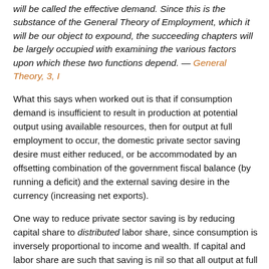will be called the effective demand. Since this is the substance of the General Theory of Employment, which it will be our object to expound, the succeeding chapters will be largely occupied with examining the various factors upon which these two functions depend. — General Theory, 3, I
What this says when worked out is that if consumption demand is insufficient to result in production at potential output using available resources, then for output at full employment to occur, the domestic private sector saving desire must either reduced, or be accommodated by an offsetting combination of the government fiscal balance (by running a deficit) and the external saving desire in the currency (increasing net exports).
One way to reduce private sector saving is by reducing capital share to distributed labor share, since consumption is inversely proportional to income and wealth. If capital and labor share are such that saving is nil so that all output at full is purchased, then the government and external balances